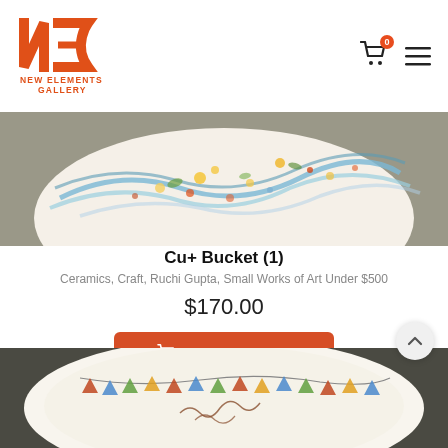[Figure (logo): New Elements Gallery logo — orange NE monogram with text NEW ELEMENTS GALLERY below]
[Figure (photo): Close-up of a colorful ceramic bucket with swirling painted patterns in blue, yellow, red, green on a grey background]
Cu+ Bucket (1)
Ceramics, Craft, Ruchi Gupta, Small Works of Art Under $500
$170.00
ADD TO CART
[Figure (photo): Ceramic plate or bowl featuring painted bunting/pennant flags and handwritten text on white glazed surface]